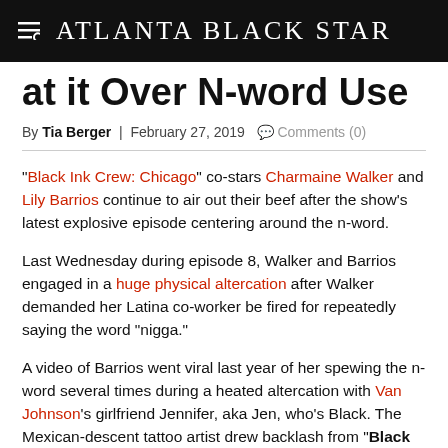Atlanta Black Star
at it Over N-word Use
By Tia Berger | February 27, 2019  Comments (0)
"Black Ink Crew: Chicago" co-stars Charmaine Walker and Lily Barrios continue to air out their beef after the show's latest explosive episode centering around the n-word.
Last Wednesday during episode 8, Walker and Barrios engaged in a huge physical altercation after Walker demanded her Latina co-worker be fired for repeatedly saying the word “nigga.”
A video of Barrios went viral last year of her spewing the n-word several times during a heated altercation with Van Johnson's girlfriend Jennifer, aka Jen, who's Black. The Mexican-descent tattoo artist drew backlash from “Black Ink